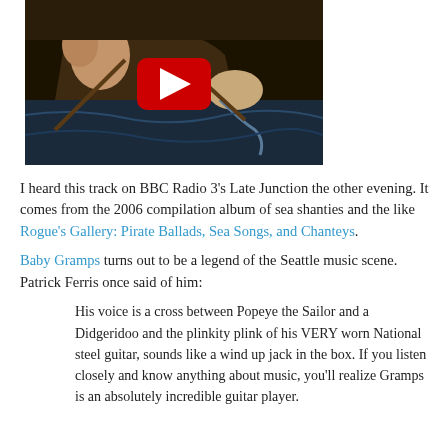[Figure (screenshot): YouTube video thumbnail showing a classical painting of figures in a boat with mermaids, with a large red YouTube play button overlay in the center.]
I heard this track on BBC Radio 3's Late Junction the other evening. It comes from the 2006 compilation album of sea shanties and the like Rogue's Gallery: Pirate Ballads, Sea Songs, and Chanteys.
Baby Gramps turns out to be a legend of the Seattle music scene. Patrick Ferris once said of him:
His voice is a cross between Popeye the Sailor and a Didgeridoo and the plinkity plink of his VERY worn National steel guitar, sounds like a wind up jack in the box. If you listen closely and know anything about music, you'll realize Gramps is an absolutely incredible guitar player.